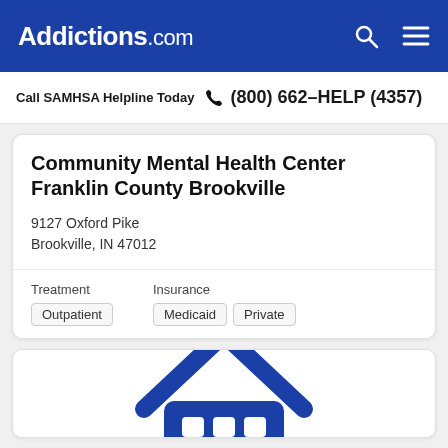Addictions.com
Call SAMHSA Helpline Today  (800) 662-HELP (4357)
Community Mental Health Center Franklin County Brookville
9127 Oxford Pike
Brookville, IN 47012
Treatment: Outpatient | Insurance: Medicaid, Private
[Figure (illustration): Partial view of a building/house icon in dark blue, a logo for a mental health center listing]